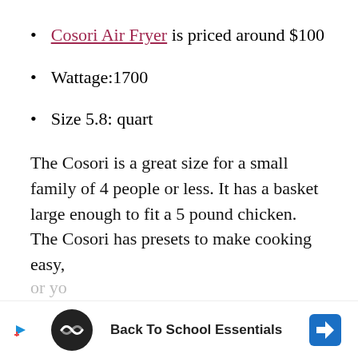Cosori Air Fryer is priced around $100
Wattage:1700
Size 5.8: quart
The Cosori is a great size for a small family of 4 people or less. It has a basket large enough to fit a 5 pound chicken. The Cosori has presets to make cooking easy, or yo... with...